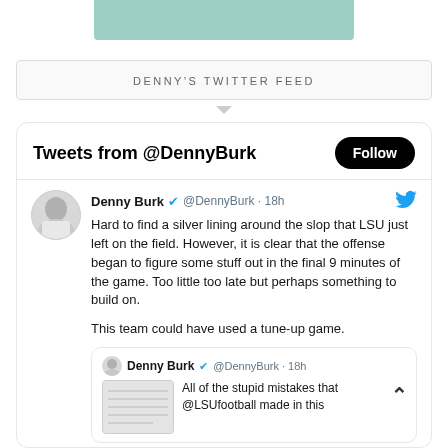[Figure (illustration): Teal/mint colored banner bar at top of page]
DENNY'S TWITTER FEED
[Figure (screenshot): Twitter/X embedded feed widget showing tweets from @DennyBurk. Header says 'Tweets from @DennyBurk' with a Follow button. Tweet by Denny Burk (@DennyBurk, 18h): 'Hard to find a silver lining around the slop that LSU just left on the field. However, it is clear that the offense began to figure some stuff out in the final 9 minutes of the game. Too little too late but perhaps something to build on. This team could have used a tune-up game.' Followed by a quoted tweet from Denny Burk @DennyBurk 18h: 'All of the stupid mistakes that @LSUfootball made in this']